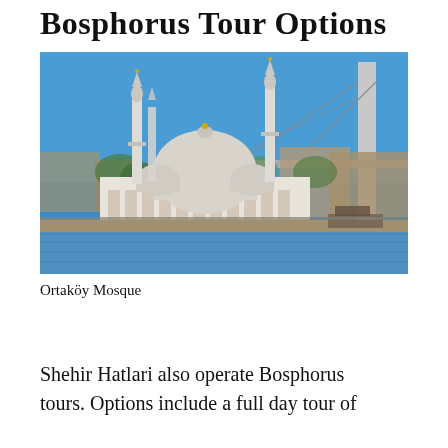Bosphorus Tour Options
[Figure (photo): Photograph of Ortaköy Mosque with its two minarets, a large dome, and the Bosphorus Bridge visible in the background. Blue sky and waterfront visible.]
Ortaköy Mosque
Shehir Hatlari also operate Bosphorus tours. Options include a full day tour of